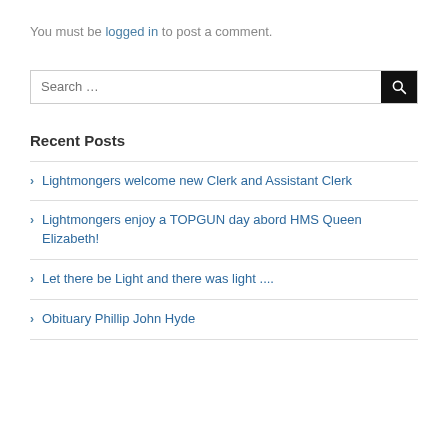You must be logged in to post a comment.
Search …
Recent Posts
Lightmongers welcome new Clerk and Assistant Clerk
Lightmongers enjoy a TOPGUN day abord HMS Queen Elizabeth!
Let there be Light and there was light ....
Obituary Phillip John Hyde